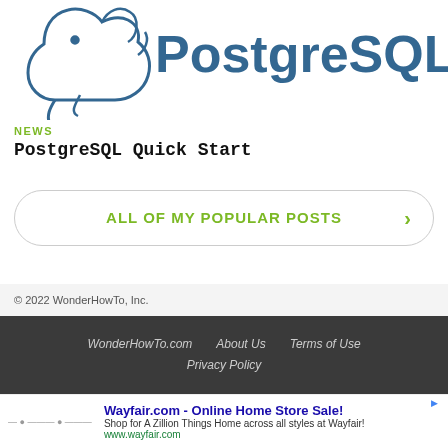[Figure (logo): PostgreSQL logo with elephant graphic and 'PostgreSQL' text in teal/blue]
NEWS
PostgreSQL Quick Start
ALL OF MY POPULAR POSTS >
© 2022 WonderHowTo, Inc.
WonderHowTo.com   About Us   Terms of Use   Privacy Policy
[Figure (infographic): Advertisement: Wayfair.com - Online Home Store Sale! Shop for A Zillion Things Home across all styles at Wayfair! www.wayfair.com]